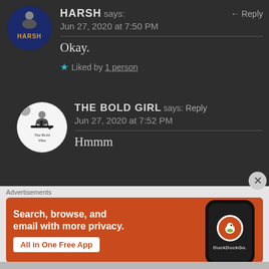HARSH says: Jun 27, 2020 at 7:50 PM ← Reply
Okay.
★ Liked by 1 person
THE BOLD GIRL says: Jun 27, 2020 at 7:52 PM ← Reply
Hmmm
Advertisements
[Figure (screenshot): DuckDuckGo advertisement banner. Orange background with text 'Search, browse, and email with more privacy. All in One Free App' on the left, and a phone mockup showing DuckDuckGo app logo on the right.]